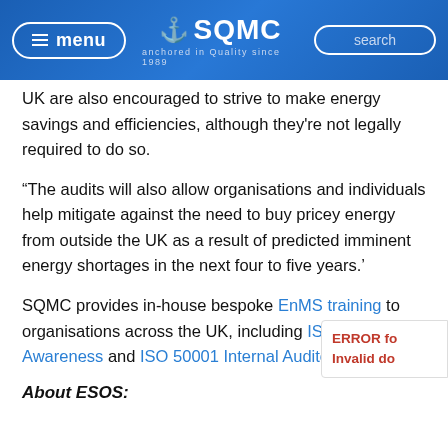menu | SQMC — anchored in Quality since 1989 | search
UK are also encouraged to strive to make energy savings and efficiencies, although they're not legally required to do so.
“The audits will also allow organisations and individuals help mitigate against the need to buy pricey energy from outside the UK as a result of predicted imminent energy shortages in the next four to five years.’
SQMC provides in-house bespoke EnMS training to organisations across the UK, including ISO 50001 Awareness and ISO 50001 Internal Auditor.
About ESOS: